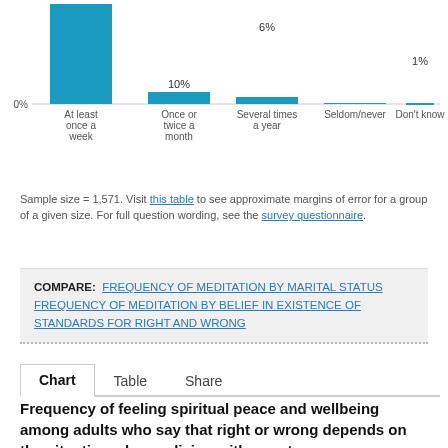[Figure (bar-chart): Frequency of meditation]
Sample size = 1,571. Visit this table to see approximate margins of error for a group of a given size. For full question wording, see the survey questionnaire.
COMPARE: FREQUENCY OF MEDITATION BY MARITAL STATUS  FREQUENCY OF MEDITATION BY BELIEF IN EXISTENCE OF STANDARDS FOR RIGHT AND WRONG
Chart  Table  Share
Frequency of feeling spiritual peace and wellbeing among adults who say that right or wrong depends on the situation who are living with a partner